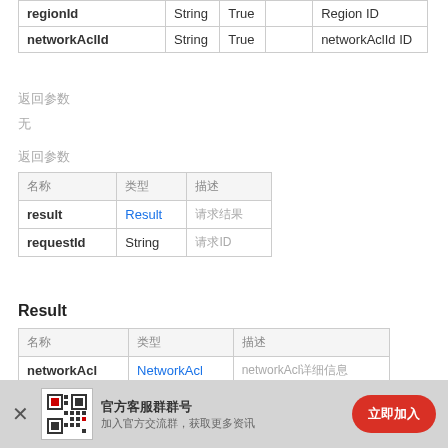| 名称 | 类型 | 必选 |  | 描述 |
| --- | --- | --- | --- | --- |
| regionId | String | True |  | Region ID |
| networkAclId | String | True |  | networkAclId ID |
返回参数
无
返回参数
| 名称 | 类型 | 描述 |
| --- | --- | --- |
| result | Result | 请求结果 |
| requestId | String | 请求ID |
Result
| 名称 | 类型 | 描述 |
| --- | --- | --- |
| networkAcl | NetworkAcl | networkAcl详细信息 |
NetworkAcl